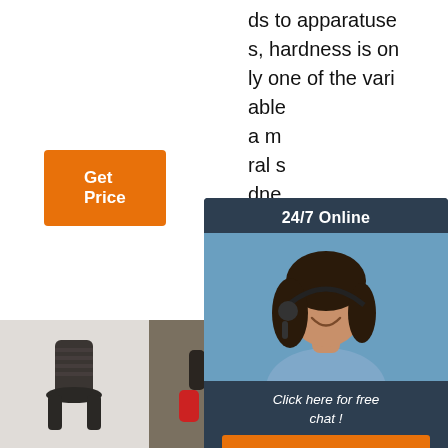[Figure (other): Orange 'Get Price' button]
ds to apparatuses, hardness is only one of the variables...a m...ral s...dne...o...
[Figure (infographic): 24/7 Online chat popup with woman wearing headset, 'Click here for free chat!' text, and orange QUOTATION button]
[Figure (photo): Photo of dark metal threaded connector part]
[Figure (photo): Photo of colorful plastic connector pieces (red and green)]
[Figure (photo): Photo of flat metal chisel/tool with TOP badge overlay]